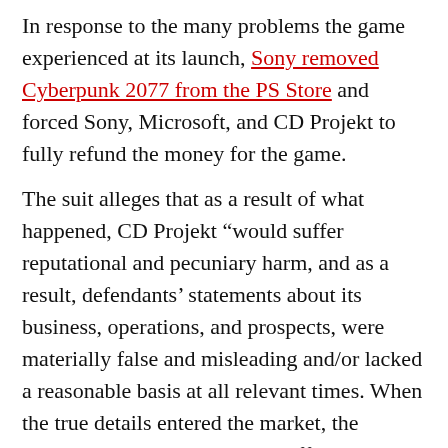In response to the many problems the game experienced at its launch, Sony removed Cyberpunk 2077 from the PS Store and forced Sony, Microsoft, and CD Projekt to fully refund the money for the game.
The suit alleges that as a result of what happened, CD Projekt “would suffer reputational and pecuniary harm, and as a result, defendants’ statements about its business, operations, and prospects, were materially false and misleading and/or lacked a reasonable basis at all relevant times. When the true details entered the market, the lawsuit claims that investors suffered damages. “
But despite all these problems, and CD Projekt’s stock falling by about 29% at launch, this did not prevent Cyberpunk 2077 from selling more than 13 million copies and collecting the entire development and marketing costs through pre-orders alone.
0 comment 0 FacebookTwitterPinterestRedditWhatsappEmail previous post
Among Us reached almost half a billion active users in November